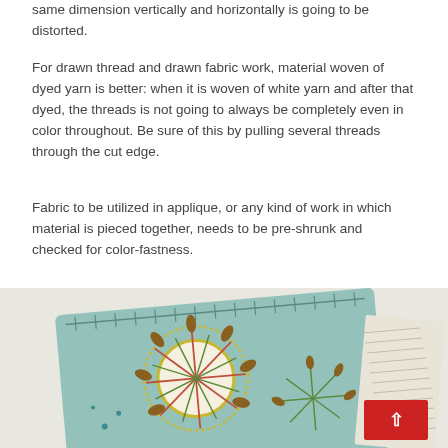same dimension vertically and horizontally is going to be distorted.
For drawn thread and drawn fabric work, material woven of dyed yarn is better: when it is woven of white yarn and after that dyed, the threads is not going to always be completely even in color throughout. Be sure of this by pulling several threads through the cut edge.
Fabric to be utilized in applique, or any kind of work in which material is pieced together, needs to be pre-shrunk and checked for color-fastness.
[Figure (photo): A teal/light blue felt embroidery needle case or pouch decorated with colorful dandelion/floral embroidery designs in yellow, green, teal, red and brown. The item is photographed at an angle showing its embroidered surface with a comb or similar tool visible at the right edge. A red back-to-top button with a white upward arrow is overlaid at the bottom right.]